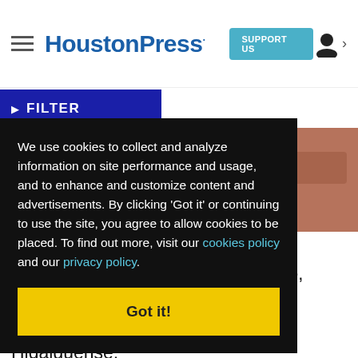HoustonPress — SUPPORT US
FILTER
[Figure (photo): Partial image of a restaurant table scene, warm tones, top-right corner of page]
We use cookies to collect and analyze information on site performance and usage, and to enhance and customize content and advertisements. By clicking 'Got it' or continuing to use the site, you agree to allow cookies to be placed. To find out more, visit our cookies policy and our privacy policy.
Got it!
food you ork
ream yside, his
delicious carne asada. At El Hidalguense,